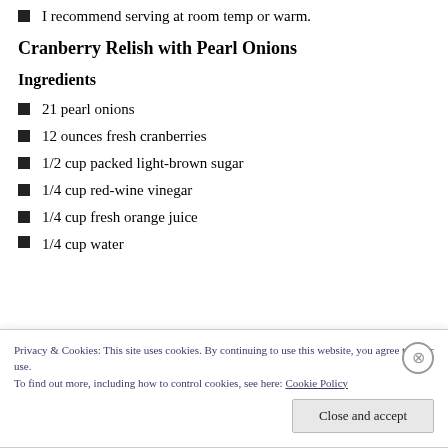I recommend serving at room temp or warm.
Cranberry Relish with Pearl Onions
Ingredients
21 pearl onions
12 ounces fresh cranberries
1/2 cup packed light-brown sugar
1/4 cup red-wine vinegar
1/4 cup fresh orange juice
1/4 cup water
Privacy & Cookies: This site uses cookies. By continuing to use this website, you agree to their use.
To find out more, including how to control cookies, see here: Cookie Policy